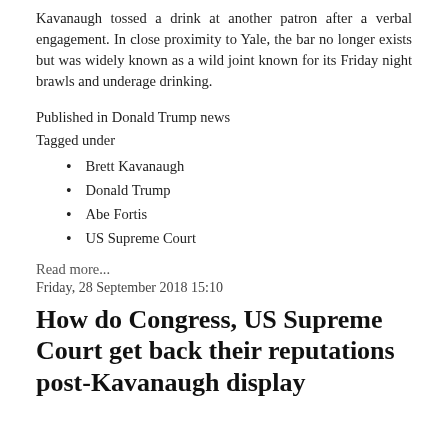Kavanaugh tossed a drink at another patron after a verbal engagement. In close proximity to Yale, the bar no longer exists but was widely known as a wild joint known for its Friday night brawls and underage drinking.
Published in Donald Trump news
Tagged under
Brett Kavanaugh
Donald Trump
Abe Fortis
US Supreme Court
Read more...
Friday, 28 September 2018 15:10
How do Congress, US Supreme Court get back their reputations post-Kavanaugh display